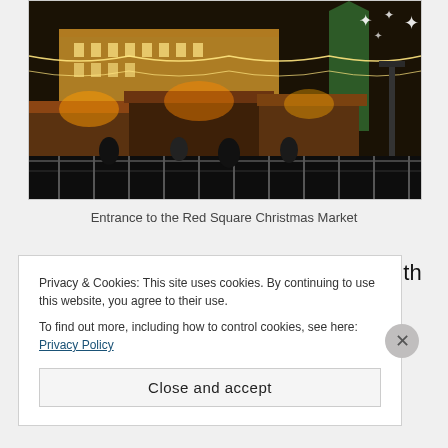[Figure (photo): Nighttime photo of the Red Square Christmas Market in Moscow, showing illuminated decorations, holiday market stalls with lights, string lights, snowflake decorations, Kremlin towers in background, and crowds of people]
Entrance to the Red Square Christmas Market
Eating in GUM, we started our meal with bowls of Borscht which is a Russian / Ukrainian sour beetroot
Privacy & Cookies: This site uses cookies. By continuing to use this website, you agree to their use.
To find out more, including how to control cookies, see here: Privacy Policy